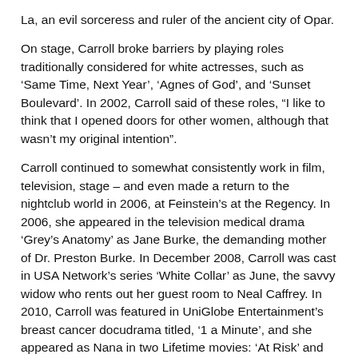La, an evil sorceress and ruler of the ancient city of Opar.
On stage, Carroll broke barriers by playing roles traditionally considered for white actresses, such as 'Same Time, Next Year', 'Agnes of God', and 'Sunset Boulevard'. In 2002, Carroll said of these roles, “I like to think that I opened doors for other women, although that wasn’t my original intention”.
Carroll continued to somewhat consistently work in film, television, stage – and even made a return to the nightclub world in 2006, at Feinstein’s at the Regency. In 2006, she appeared in the television medical drama ‘Grey’s Anatomy’ as Jane Burke, the demanding mother of Dr. Preston Burke. In December 2008, Carroll was cast in USA Network’s series ‘White Collar’ as June, the savvy widow who rents out her guest room to Neal Caffrey. In 2010, Carroll was featured in UniGlobe Entertainment’s breast cancer docudrama titled, ‘1 a Minute’, and she appeared as Nana in two Lifetime movies: ‘At Risk’ and ‘The Front’, movie adaptations of two Patricia Cornwell novels. In